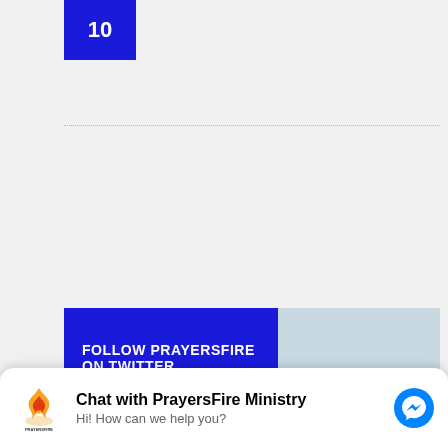10
FOLLOW PRAYERSFIRE ON TWITTER
[Figure (screenshot): Twitter widget showing tweets from @prayersfire with Follow button and a tweet: CONGRATULATIONS TO ALL KENYANS AND KENYA 🇰🇪]
[Figure (screenshot): Messenger chat widget: Chat with PrayersFire Ministry - Hi! How can we help you?]